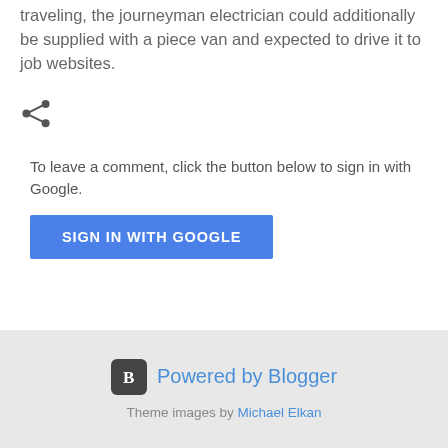traveling, the journeyman electrician could additionally be supplied with a piece van and expected to drive it to job websites.
[Figure (other): Share icon (network/share symbol)]
To leave a comment, click the button below to sign in with Google.
SIGN IN WITH GOOGLE
Powered by Blogger
Theme images by Michael Elkan